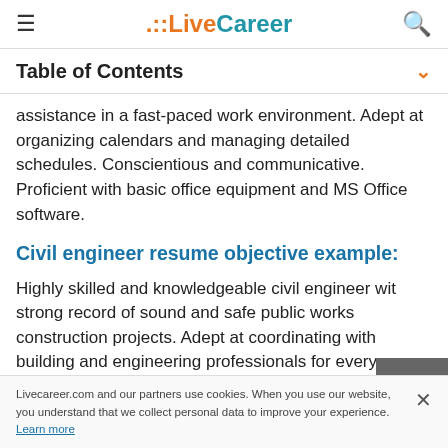LiveCareer
Table of Contents
assistance in a fast-paced work environment. Adept at organizing calendars and managing detailed schedules. Conscientious and communicative. Proficient with basic office equipment and MS Office software.
Civil engineer resume objective example:
Highly skilled and knowledgeable civil engineer with strong record of sound and safe public works construction projects. Adept at coordinating with building and engineering professionals for every
Livecareer.com and our partners use cookies. When you use our website, you understand that we collect personal data to improve your experience. Learn more